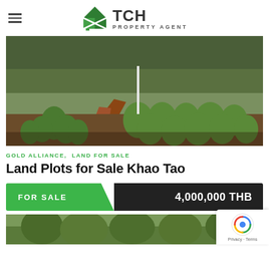TCH PROPERTY AGENT
[Figure (photo): Pineapple field/plantation with red dirt path, green pineapple plants, and trees in background]
GOLD ALLIANCE, LAND FOR SALE
Land Plots for Sale Khao Tao
FOR SALE   4,000,000 THB
[Figure (photo): Partial view of another property photo at the bottom of the page]